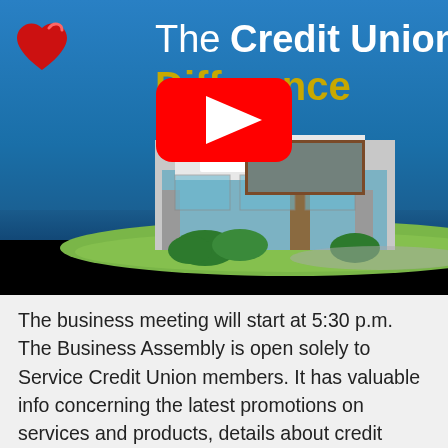[Figure (screenshot): YouTube video thumbnail for '3Rivers - The Credit Union Difference'. Shows an illustrated building with '3RIVERS' sign, blue sky background, red heart icon in top-left corner, title text 'The Credit Union Difference' in white and gold, and a large red YouTube play button in the center. Bottom black bar is the video player control area.]
The business meeting will start at 5:30 p.m. The Business Assembly is open solely to Service Credit Union members. It has valuable info concerning the latest promotions on services and products, details about credit score union, events and tips/tips to help you